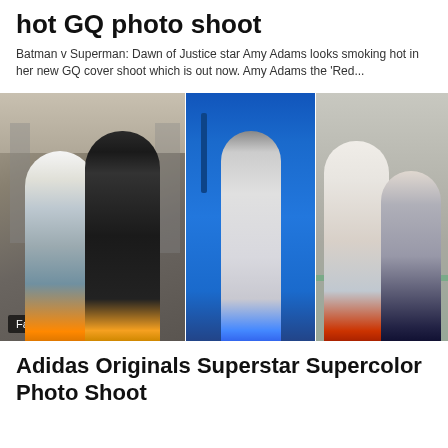hot GQ photo shoot
Batman v Superman: Dawn of Justice star Amy Adams looks smoking hot in her new GQ cover shoot which is out now. Amy Adams the 'Red...
[Figure (photo): Three fashion photo panels: left panel shows two female models on street in casual wear with orange shoes; center panel shows a model in a gray dress against a blue door wearing blue shoes; right panel shows two female models leaning against a wall in casual fashion wear with red and navy shoes. A 'Fashion' label appears in the lower left corner.]
Adidas Originals Superstar Supercolor Photo Shoot